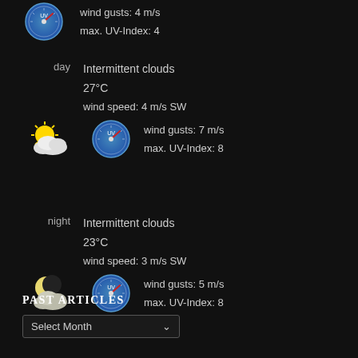wind gusts: 4 m/s
max. UV-Index: 4
[Figure (illustration): UV/speed gauge icon, circular blue dial with red needle]
day
Intermittent clouds
27°C
wind speed: 4 m/s SW
wind gusts: 7 m/s
max. UV-Index: 8
[Figure (illustration): Sun with clouds weather icon for day]
[Figure (illustration): UV/speed gauge icon, circular blue dial with red needle]
night
Intermittent clouds
23°C
wind speed: 3 m/s SW
wind gusts: 5 m/s
max. UV-Index: 8
[Figure (illustration): Moon with clouds weather icon for night]
[Figure (illustration): UV/speed gauge icon, circular blue dial with red needle]
PAST ARTICLES
Select Month